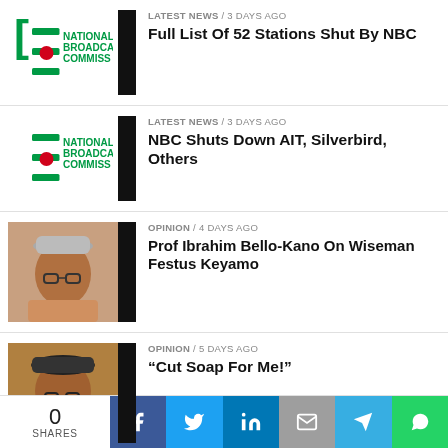[Figure (logo): National Broadcasting Commission (NBC) logo with green stylized 'BC' and red circle]
LATEST NEWS / 3 days ago
Full List Of 52 Stations Shut By NBC
[Figure (logo): National Broadcasting Commission (NBC) logo with green stylized 'BC' and red circle]
LATEST NEWS / 3 days ago
NBC Shuts Down AIT, Silverbird, Others
[Figure (photo): Elderly man wearing a grey hat and glasses, seated]
OPINION / 4 days ago
Prof Ibrahim Bello-Kano On Wiseman Festus Keyamo
[Figure (photo): Elderly man in traditional attire]
OPINION / 5 days ago
“Cut Soap For Me!”
[Figure (photo): Partial photo of person, partially visible]
LATEST NEWS / 5 days ago
0 SHARES | Facebook | Twitter | LinkedIn | Email | Telegram | WhatsApp